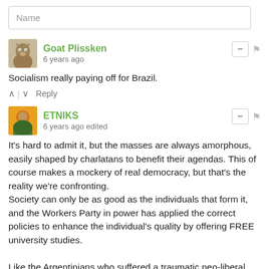Name
Goat Plissken
6 years ago
Socialism really paying off for Brazil.
ETNIKS
6 years ago edited
It's hard to admit it, but the masses are always amorphous, easily shaped by charlatans to benefit their agendas. This of course makes a mockery of real democracy, but that's the reality we're confronting.
Society can only be as good as the individuals that form it, and the Workers Party in power has applied the correct policies to enhance the individual's quality by offering FREE university studies.

Like the Argentinians who suffered a traumatic neo-liberal Menem regime nightmare only 14 years ago, have been brainwashed too easily by their oligarchy to vote another crook